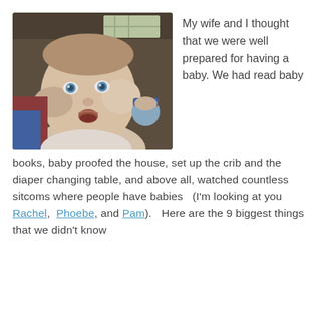[Figure (photo): Photo of a baby/toddler looking upward with mouth slightly open, blue eyes, in an indoor setting with other people visible in background.]
My wife and I thought that we were well prepared for having a baby.  We had read baby books, baby proofed the house, set up the crib and the diaper changing table, and above all, watched countless sitcoms where people have babies   (I'm looking at you  Rachel,  Phoebe, and Pam).   Here are the 9 biggest things that we didn't know